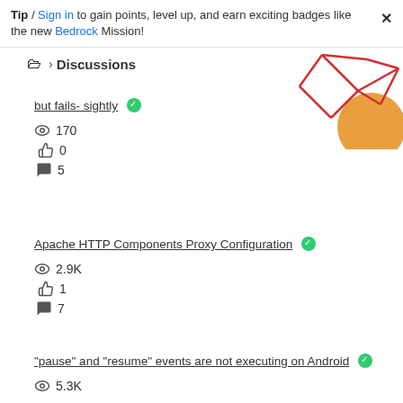Tip / Sign in to gain points, level up, and earn exciting badges like the new Bedrock Mission!
🗁 > Discussions
but fails- sightly ✅
👁 170
👍 0
↩ 5
Apache HTTP Components Proxy Configuration ✅
👁 2.9K
👍 1
↩ 7
"pause" and "resume" events are not executing on Android ✅
👁 5.3K